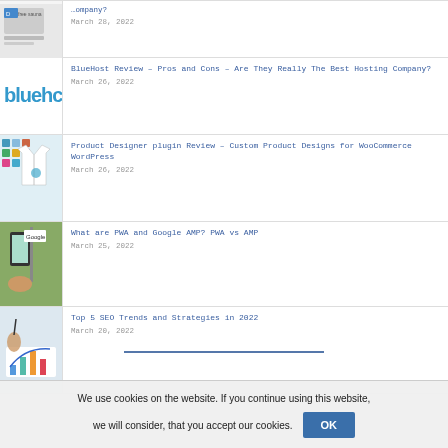BlueHost Review – Pros and Cons – Are They Really The Best Hosting Company?
March 26, 2022
Product Designer plugin Review – Custom Product Designs for WooCommerce WordPress
March 26, 2022
What are PWA and Google AMP? PWA vs AMP
March 25, 2022
Top 5 SEO Trends and Strategies in 2022
March 20, 2022
We use cookies on the website. If you continue using this website, we will consider, that you accept our cookies.